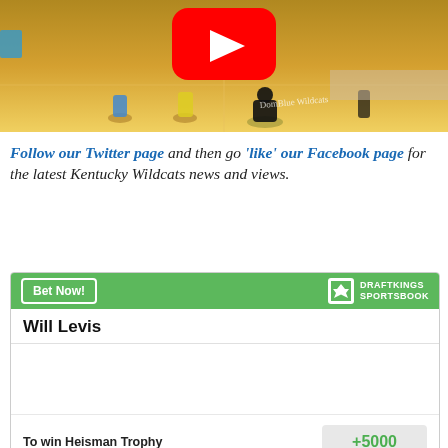[Figure (screenshot): Basketball court video thumbnail with YouTube play button overlay, showing youth basketball players on a wooden court with spectators in the background]
Follow our Twitter page and then go 'like' our Facebook page for the latest Kentucky Wildcats news and views.
[Figure (infographic): DraftKings Sportsbook betting widget showing Will Levis with odds +5000 to win Heisman Trophy]
Will Levis
To win Heisman Trophy +5000